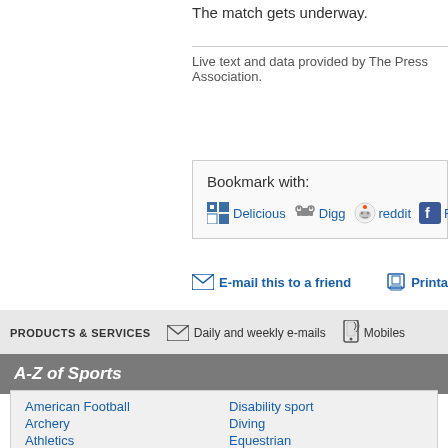The match gets underway.
Live text and data provided by The Press Association.
Bookmark with: Delicious Digg reddit Faceb...
E-mail this to a friend   Printa...
PRODUCTS & SERVICES  Daily and weekly e-mails  Mobiles
A-Z of Sports
American Football
Archery
Athletics
Badminton
Disability sport
Diving
Equestrian
Fencing